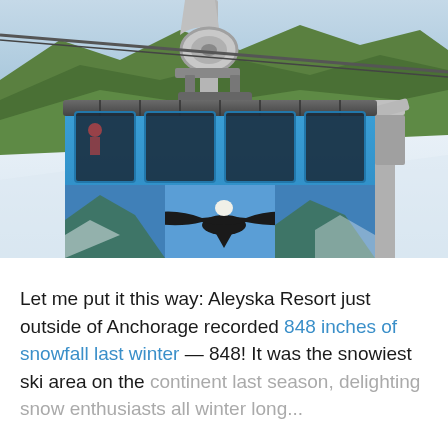[Figure (photo): Aerial tramway gondola car with blue painted exterior featuring an eagle and mountain scenery artwork, suspended on a cable above a snow-covered slope with forested mountains in the background.]
Let me put it this way: Aleyska Resort just outside of Anchorage recorded 848 inches of snowfall last winter — 848! It was the snowiest ski area on the continent last season, delighting snow enthusiasts all winter long...